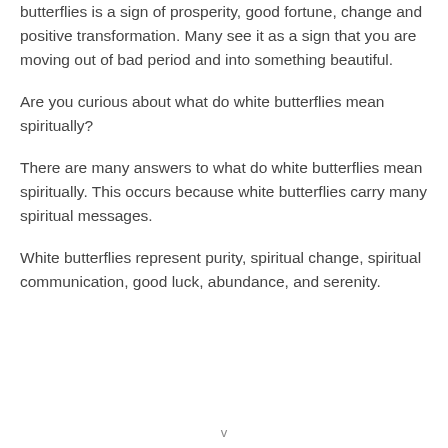butterflies is a sign of prosperity, good fortune, change and positive transformation. Many see it as a sign that you are moving out of bad period and into something beautiful.
Are you curious about what do white butterflies mean spiritually?
There are many answers to what do white butterflies mean spiritually. This occurs because white butterflies carry many spiritual messages.
White butterflies represent purity, spiritual change, spiritual communication, good luck, abundance, and serenity.
v